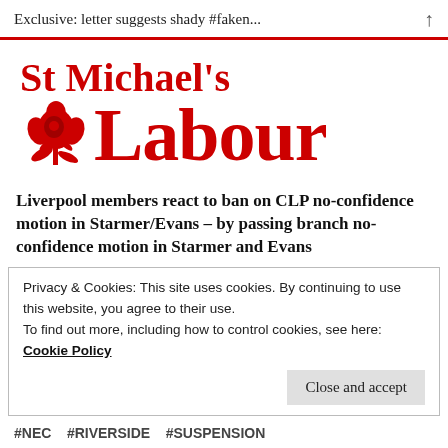Exclusive: letter suggests shady #faken...
[Figure (logo): St Michael's Labour party logo — red text reading 'St Michael's' above a red rose icon followed by bold red text reading 'Labour']
Liverpool members react to ban on CLP no-confidence motion in Starmer/Evans – by passing branch no-confidence motion in Starmer and Evans
Privacy & Cookies: This site uses cookies. By continuing to use this website, you agree to their use.
To find out more, including how to control cookies, see here: Cookie Policy
Close and accept
#NEC  #RIVERSIDE  #SUSPENSION